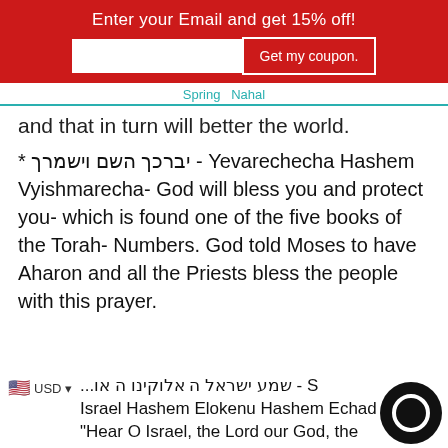Enter your Email and get 15% off!
Spring   Nahal
and that in turn will better the world.
* יברכך השם וישמרך - Yevarechecha Hashem Vyishmarecha- God will bless you and protect you- which is found one of the five books of the Torah- Numbers. God told Moses to have Aharon and all the Priests bless the people with this prayer.
שמע ישראל ה אלוקינו ה או... - S... Israel Hashem Elokenu Hashem Echad "Hear O Israel, the Lord our God, the